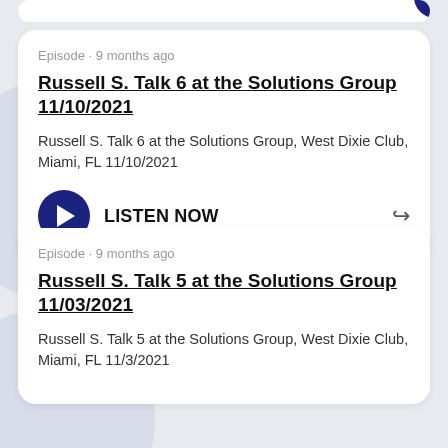Episode · 9 months ago
Russell S. Talk 6 at the Solutions Group 11/10/2021
Russell S. Talk 6 at the Solutions Group, West Dixie Club, Miami, FL 11/10/2021
LISTEN NOW
Episode · 9 months ago
Russell S. Talk 5 at the Solutions Group 11/03/2021
Russell S. Talk 5 at the Solutions Group, West Dixie Club, Miami, FL 11/3/2021